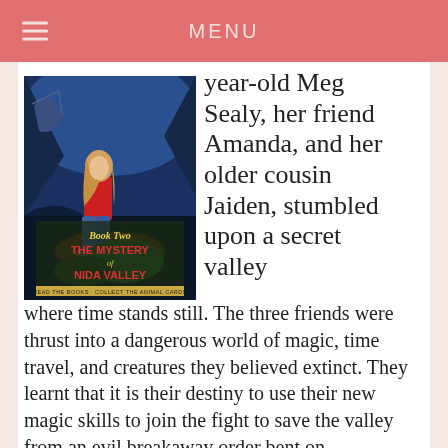MENU
[Figure (illustration): Book cover for 'The Mystery of Nida Valley' Book Two, showing a girl sitting in a cave with fantastical creatures. Text reads: 'Book Two THE MYSTERY of NIDA VALLEY READ THE BOOKS · COLLECT THE ANIMAL CARDS']
year-old Meg Sealy, her friend Amanda, and her older cousin Jaiden, stumbled upon a secret valley where time stands still. The three friends were thrust into a dangerous world of magic, time travel, and creatures they believed extinct. They learnt that it is their destiny to use their new magic skills to join the fight to save the valley from an evil breakaway order bent on exploitation. Joined by their friends and the valley's protectors...